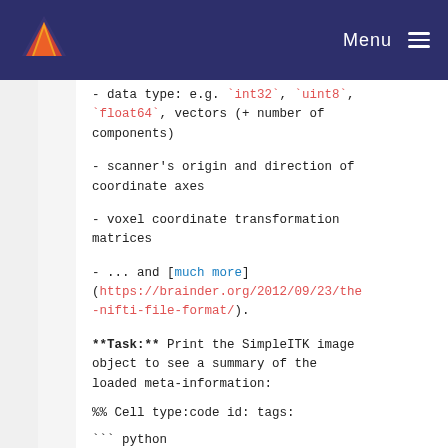Menu
- data type: e.g. `int32`, `uint8`, `float64`, vectors (+ number of components)
- scanner's origin and direction of coordinate axes
- voxel coordinate transformation matrices
- ... and [much more](https://brainder.org/2012/09/23/the-nifti-file-format/).
**Task:** Print the SimpleITK image object to see a summary of the loaded meta-information:
%% Cell type:code id: tags:
``` python
# Print image object
```